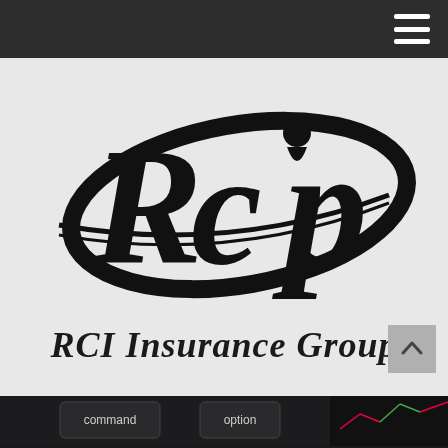Navigation bar with hamburger menu
[Figure (logo): RCI Insurance Group logo — stylized black italic 'RCI' letters with a sweeping elliptical swoosh/orbit graphic encircling the letters]
RCI Insurance Group
[Figure (photo): Close-up photo of a keyboard showing 'command' and 'option' keys, with what appears to be a financial chart in the background on the right side]